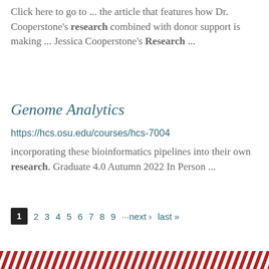Click here to go to ... the article that features how Dr. Cooperstone's research combined with donor support is making ... Jessica Cooperstone's Research ...
Genome Analytics
https://hcs.osu.edu/courses/hcs-7004
incorporating these bioinformatics pipelines into their own research. Graduate 4.0 Autumn 2022 In Person ...
1 2 3 4 5 6 7 8 9 ···next › last »